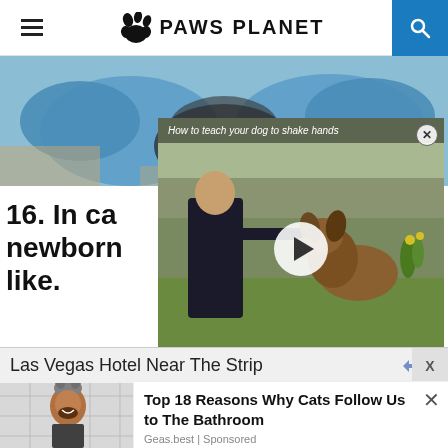PAWS PLANET
[Figure (photo): Close-up of blue-gloved hands holding something, main article hero image]
[Figure (screenshot): Video player overlay showing a person training a Belgian Malinois/Tervuren dog to shake hands outdoors, with title 'How to teach your dog to shake hands' and a play button]
16. In ca...
newborn...
like.
[Figure (photo): Lower left photo showing a person with a cat on their head in a bathroom]
Las Vegas Hotel Near The Strip
Top 18 Reasons Why Cats Follow Us to The Bathroom
Geas.best | Sponsored